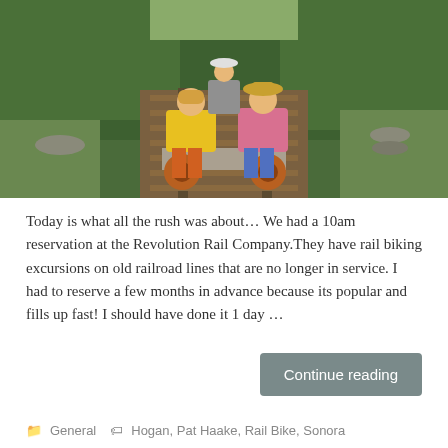[Figure (photo): Three people riding rail bikes on old railroad tracks over a wooden trestle bridge surrounded by trees and a river. A woman in yellow shirt and red shorts, a woman in pink shirt and blue shorts, and a man in gray shirt visible in the background.]
Today is what all the rush was about… We had a 10am reservation at the Revolution Rail Company.They have rail biking excursions on old railroad lines that are no longer in service. I had to reserve a few months in advance because its popular and fills up fast! I should have done it 1 day …
Continue reading
General  Hogan, Pat Haake, Rail Bike, Sonora